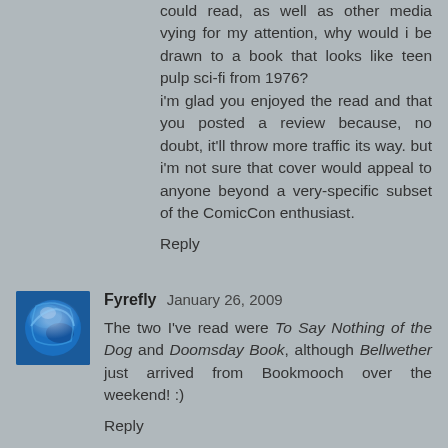could read, as well as other media vying for my attention, why would i be drawn to a book that looks like teen pulp sci-fi from 1976? i'm glad you enjoyed the read and that you posted a review because, no doubt, it'll throw more traffic its way. but i'm not sure that cover would appeal to anyone beyond a very-specific subset of the ComicCon enthusiast.
Reply
Fyrefly  January 26, 2009
The two I've read were To Say Nothing of the Dog and Doomsday Book, although Bellwether just arrived from Bookmooch over the weekend! :)
Reply
Jill  February 03, 2009
Molly - great comment! I found the cover to be rather unfortunate myself, although it bothered me less after